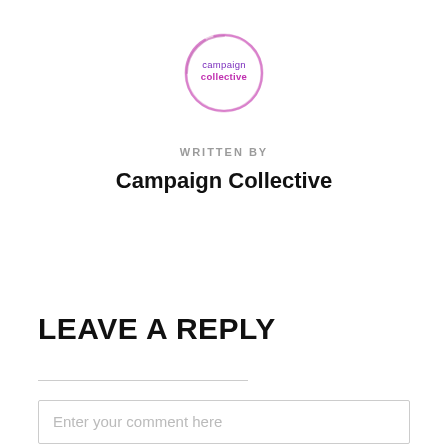[Figure (logo): Campaign Collective circular logo with pink/purple brush-stroke circle outline and text 'campaign collective' in purple]
WRITTEN BY
Campaign Collective
LEAVE A REPLY
Enter your comment here